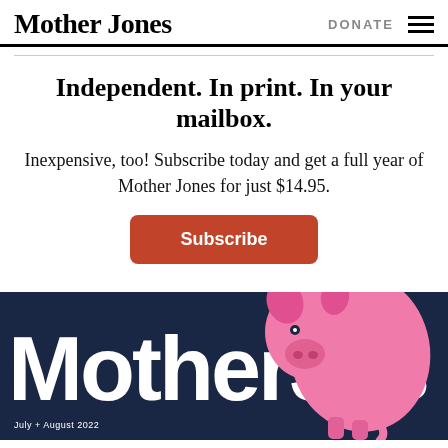Mother Jones | DONATE
Independent. In print. In your mailbox.
Inexpensive, too! Subscribe today and get a full year of Mother Jones for just $14.95.
Subscribe
[Figure (illustration): Mother Jones magazine cover for July + August 2022, dark navy background with large white 'MotherJo__s' text and a pink pig illustration overlapping the letters.]